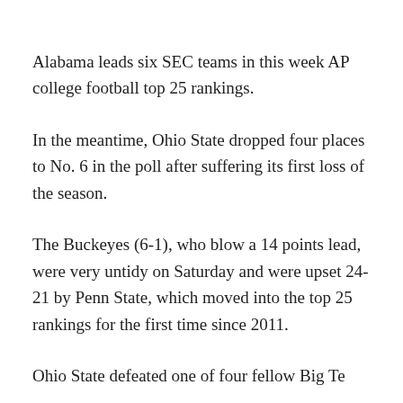Alabama leads six SEC teams in this week AP college football top 25 rankings.
In the meantime, Ohio State dropped four places to No. 6 in the poll after suffering its first loss of the season.
The Buckeyes (6-1), who blow a 14 points lead, were very untidy on Saturday and were upset 24-21 by Penn State, which moved into the top 25 rankings for the first time since 2011.
Ohio State defeated one of four fellow Big Te...